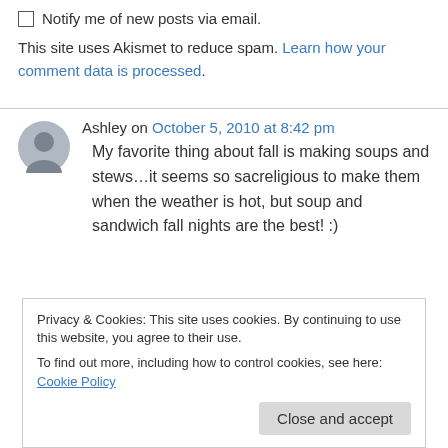Notify me of new posts via email.
This site uses Akismet to reduce spam. Learn how your comment data is processed.
Ashley on October 5, 2010 at 8:42 pm
My favorite thing about fall is making soups and stews…it seems so sacreligious to make them when the weather is hot, but soup and sandwich fall nights are the best! :)
Privacy & Cookies: This site uses cookies. By continuing to use this website, you agree to their use. To find out more, including how to control cookies, see here: Cookie Policy
Close and accept